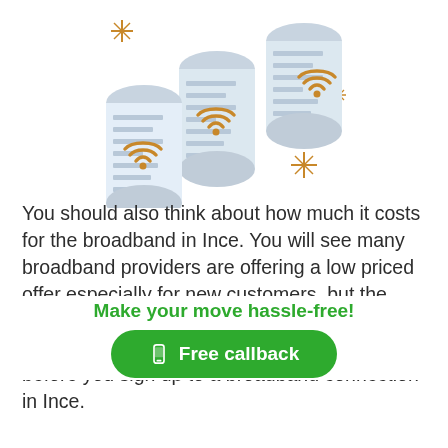[Figure (illustration): Isometric illustration of three scrolling receipt/paper rolls with golden WiFi symbols on them and golden sparkle/star decorations around them, on a white background.]
You should also think about how much it costs for the broadband in Ince. You will see many broadband providers are offering a low priced offer especially for new customers, but the price can quickly increase. We recommend you double check the fine print of the deal before you sign up to a broadband connection in Ince.
Make your move hassle-free!
Free callback